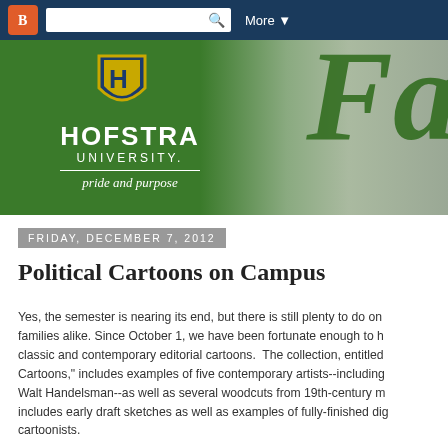Blogger navigation bar with logo, search, and More menu
[Figure (logo): Hofstra University banner with shield logo, HOFSTRA UNIVERSITY. pride and purpose text on green background, and large italic 'Fa' text on right side]
Friday, December 7, 2012
Political Cartoons on Campus
Yes, the semester is nearing its end, but there is still plenty to do on campus for students, faculty, and families alike. Since October 1, we have been fortunate enough to have a traveling exhibition of classic and contemporary editorial cartoons.  The collection, entitled Cartoons," includes examples of five contemporary artists--including Walt Handelsman--as well as several woodcuts from 19th-century m... includes early draft sketches as well as examples of fully-finished di... cartoonists.